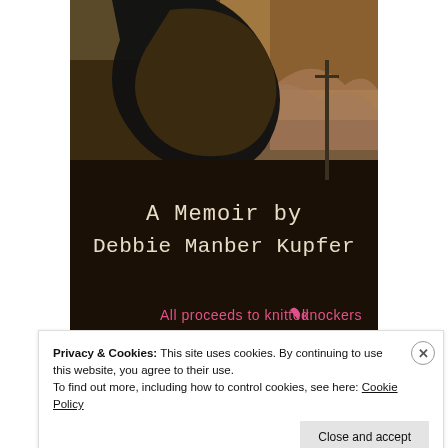[Figure (illustration): Book cover showing a dark landscape with a large black curved shape at top, desert hills in background, typewriter-font text reading 'A Memoir by Debbie Manber Kupfer', and pink text at bottom reading 'All proceeds to knitted knockers']
Privacy & Cookies: This site uses cookies. By continuing to use this website, you agree to their use.
To find out more, including how to control cookies, see here: Cookie Policy
Close and accept